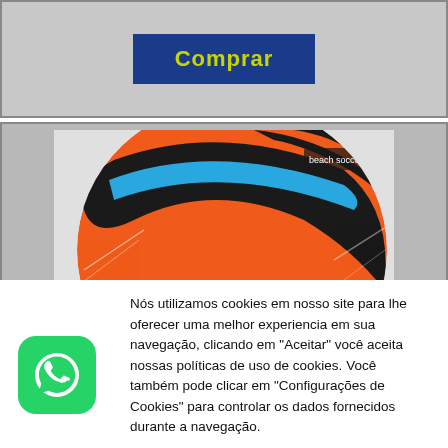[Figure (screenshot): Blue button with yellow text 'Comprar' on grey background]
[Figure (photo): Orange and black Penalty brand soccer/beach ball, cropped, showing the word PENALTY on the ball]
[Figure (logo): WhatsApp green rounded square icon]
Nós utilizamos cookies em nosso site para lhe oferecer uma melhor experiencia em sua navegação, clicando em "Aceitar" você aceita nossas políticas de uso de cookies. Você também pode clicar em "Configurações de Cookies" para controlar os dados fornecidos durante a navegação.
Avançado
Aceitar